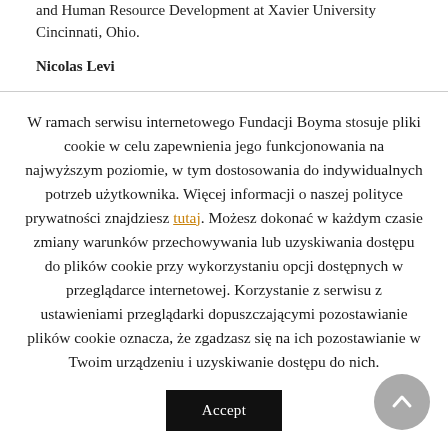and Human Resource Development at Xavier University Cincinnati, Ohio.
Nicolas Levi
W ramach serwisu internetowego Fundacji Boyma stosuje pliki cookie w celu zapewnienia jego funkcjonowania na najwyższym poziomie, w tym dostosowania do indywidualnych potrzeb użytkownika. Więcej informacji o naszej polityce prywatności znajdziesz tutaj. Możesz dokonać w każdym czasie zmiany warunków przechowywania lub uzyskiwania dostępu do plików cookie przy wykorzystaniu opcji dostępnych w przeglądarce internetowej. Korzystanie z serwisu z ustawieniami przeglądarki dopuszczającymi pozostawianie plików cookie oznacza, że zgadzasz się na ich pozostawianie w Twoim urządzeniu i uzyskiwanie dostępu do nich.
Accept